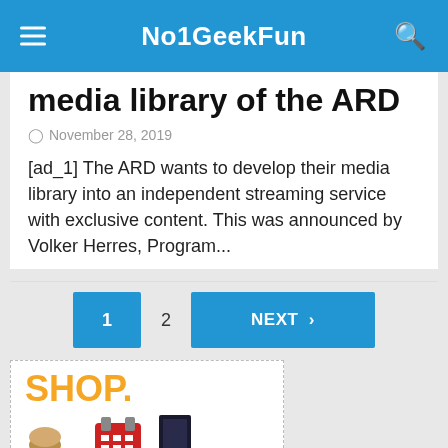No1GeekFun
media library of the ARD
November 28, 2019
[ad_1] The ARD wants to develop their media library into an independent streaming service with exclusive content. This was announced by Volker Herres, Program...
1  2  NEXT >
[Figure (photo): Advertisement box with SHOP. text in orange and product images below]